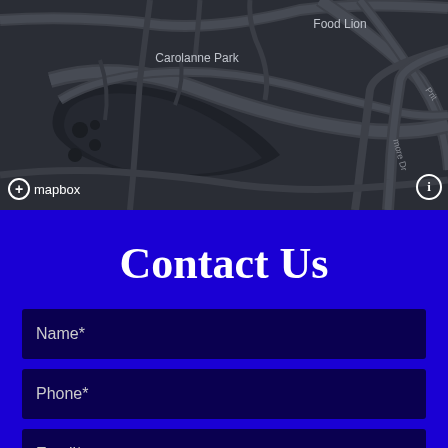[Figure (map): Dark-themed Mapbox street map showing Carolanne Park neighborhood area with Food Lion label visible, road networks in dark gray tones, with Mapbox logo and info icon overlaid at bottom]
Contact Us
Name*
Phone*
Email*